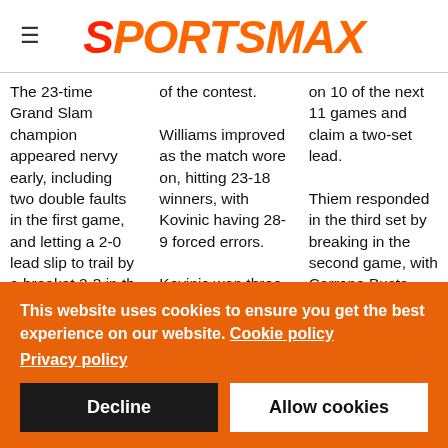SPORTSMAX
The 23-time Grand Slam champion appeared nervy early, including two double faults in the first game, and letting a 2-0 lead slip to trail by a breakat 2-3 in the...
of the contest. Williams improved as the match wore on, hitting 23-18 winners, with Kovinic having 28-9 forced errors. Kovinic won three...
on 10 of the next 11 games and claim a two-set lead. Thiem responded in the third set by breaking in the second game, with Carreno Busta...
This website uses cookies to ensure you get the best experience on our website. Cookie policy Privacy policy
Decline
Allow cookies